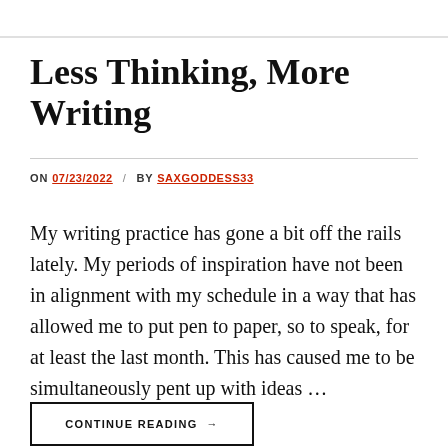Less Thinking, More Writing
ON 07/23/2022 / BY SAXGODDESS33
My writing practice has gone a bit off the rails lately. My periods of inspiration have not been in alignment with my schedule in a way that has allowed me to put pen to paper, so to speak, for at least the last month. This has caused me to be simultaneously pent up with ideas …
CONTINUE READING →